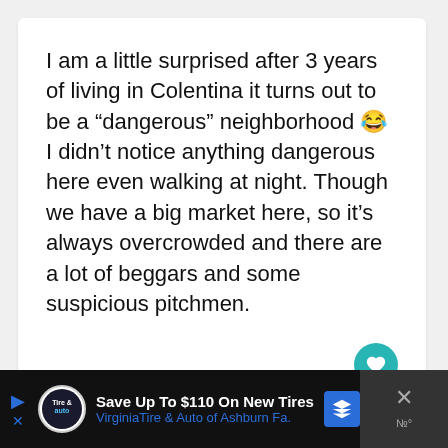I am a little surprised after 3 years of living in Colentina it turns out to be a “dangerous” neighborhood 😂 I didn’t notice anything dangerous here even walking at night. Though we have a big market here, so it’s always overcrowded and there are a lot of beggars and some suspicious pitchmen.
Reply
13
[Figure (screenshot): Advertisement bar: Save Up To $110 On New Tires - VirginiaTire & Auto of Ashburn Fa.]